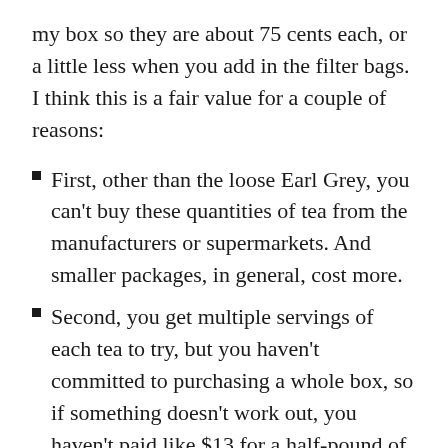my box so they are about 75 cents each, or a little less when you add in the filter bags. I think this is a fair value for a couple of reasons:
First, other than the loose Earl Grey, you can't buy these quantities of tea from the manufacturers or supermarkets. And smaller packages, in general, cost more.
Second, you get multiple servings of each tea to try, but you haven't committed to purchasing a whole box, so if something doesn't work out, you haven't paid like $13 for a half-pound of loose-leaf or 25 bags, etc.
Third, the risk is decreased even further